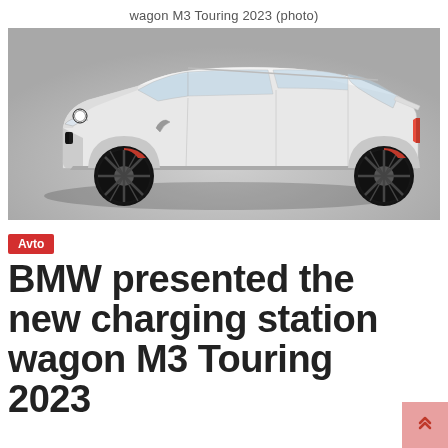wagon M3 Touring 2023 (photo)
[Figure (photo): Side profile photo of a white/silver BMW M3 Touring 2023 station wagon with black alloy wheels and red brake calipers, on a grey studio background.]
Avto
BMW presented the new charging station wagon M3 Touring 2023